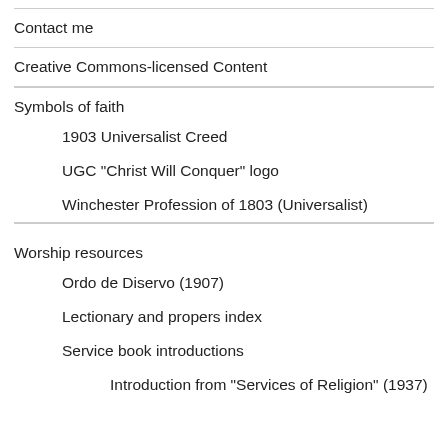Contact me
Creative Commons-licensed Content
Symbols of faith
1903 Universalist Creed
UGC "Christ Will Conquer" logo
Winchester Profession of 1803 (Universalist)
Worship resources
Ordo de Diservo (1907)
Lectionary and propers index
Service book introductions
Introduction from "Services of Religion" (1937)